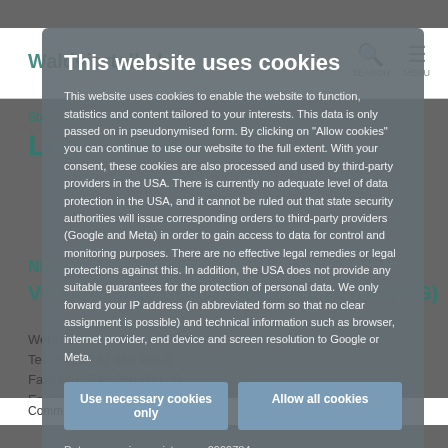[Figure (screenshot): Background website page for Waldviertelbahn / NÖVOG legal notice page, partially visible behind the cookie consent modal. Shows logo, navigation with SEARCH and MENU icons, breadcrumb navigation, section headings 'Legal notice', 'Niederösterreichische Verkehrsorganisationsges.m.b.H. (NÖVOG)', address, phone, fax, and email fields.]
This website uses cookies
This website uses cookies to enable the website to function, statistics and content tailored to your interests. This data is only passed on in pseudonymised form. By clicking on "Allow cookies" you can continue to use our website to the full extent. With your consent, these cookies are also processed and used by third-party providers in the USA. There is currently no adequate level of data protection in the USA, and it cannot be ruled out that state security authorities will issue corresponding orders to third-party providers (Google and Meta) in order to gain access to data for control and monitoring purposes. There are no effective legal remedies or legal protections against this. In addition, the USA does not provide any suitable guarantees for the protection of personal data. We only forward your IP address (in abbreviated form so that no clear assignment is possible) and technical information such as browser, internet provider, end device and screen resolution to Google or Meta.
Use necessary cookies only
Allow all cookies
Data processing register no.: 0999784
VAT no.: ATU 19845103
Show details
Commercial register no.: FN 31309y